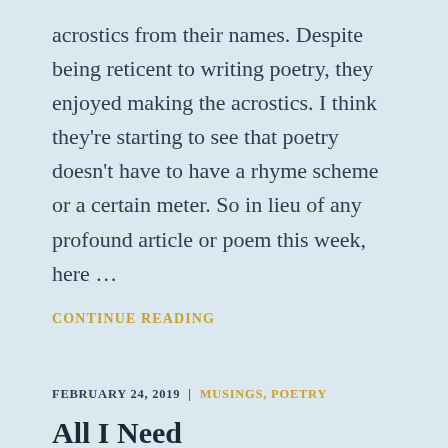acrostics from their names. Despite being reticent to writing poetry, they enjoyed making the acrostics. I think they're starting to see that poetry doesn't have to have a rhyme scheme or a certain meter. So in lieu of any profound article or poem this week, here …
CONTINUE READING
FEBRUARY 24, 2019 | MUSINGS, POETRY
All I Need
Jealousy rips through me as I see others with